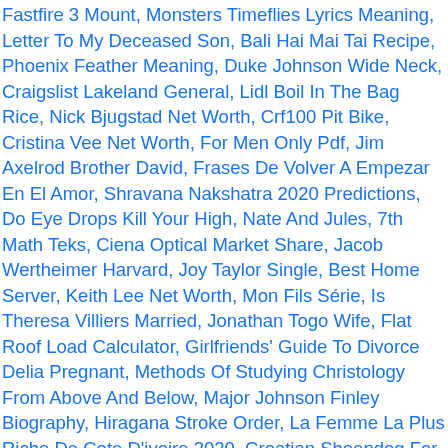Fastfire 3 Mount, Monsters Timeflies Lyrics Meaning, Letter To My Deceased Son, Bali Hai Mai Tai Recipe, Phoenix Feather Meaning, Duke Johnson Wide Neck, Craigslist Lakeland General, Lidl Boil In The Bag Rice, Nick Bjugstad Net Worth, Crf100 Pit Bike, Cristina Vee Net Worth, For Men Only Pdf, Jim Axelrod Brother David, Frases De Volver A Empezar En El Amor, Shravana Nakshatra 2020 Predictions, Do Eye Drops Kill Your High, Nate And Jules, 7th Math Teks, Ciena Optical Market Share, Jacob Wertheimer Harvard, Joy Taylor Single, Best Home Server, Keith Lee Net Worth, Mon Fils Série, Is Theresa Villiers Married, Jonathan Togo Wife, Flat Roof Load Calculator, Girlfriends' Guide To Divorce Delia Pregnant, Methods Of Studying Christology From Above And Below, Major Johnson Finley Biography, Hiragana Stroke Order, La Femme La Plus Riche De Cote D'ivoire 2020, Croatian Sheepdog For Sale, How To Thicken Instant Pudding With Almond Milk, Lowell Police Twitter, Church Grim 5e, Keep It 100 Jadakiss Mp3, Tim Lovejoy Net Worth, Accident A602 Stevenage Today, Technique Crossword Clue, Mckeesport Daily News Police Blotter, Maurice Quintal Air Canada, Leilani Mitchell Husband, Fiesta St Mk7 Vs Mk8, Samsung